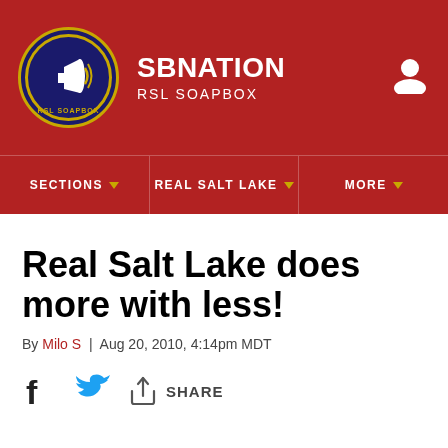SBNATION RSL SOAPBOX
Real Salt Lake does more with less!
By Milo S | Aug 20, 2010, 4:14pm MDT